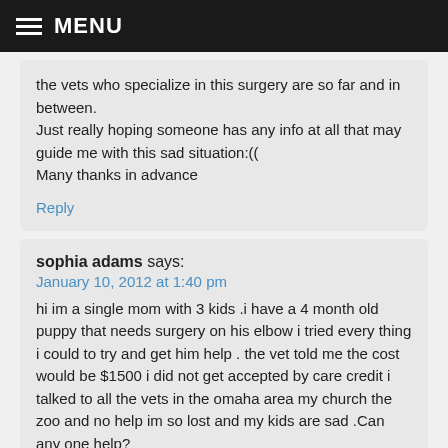MENU
the vets who specialize in this surgery are so far and in between.
Just really hoping someone has any info at all that may guide me with this sad situation:((
Many thanks in advance
Reply
sophia adams says:
January 10, 2012 at 1:40 pm
hi im a single mom with 3 kids .i have a 4 month old puppy that needs surgery on his elbow i tried every thing i could to try and get him help . the vet told me the cost would be $1500 i did not get accepted by care credit i talked to all the vets in the omaha area my church the zoo and no help im so lost and my kids are sad .Can any one help?